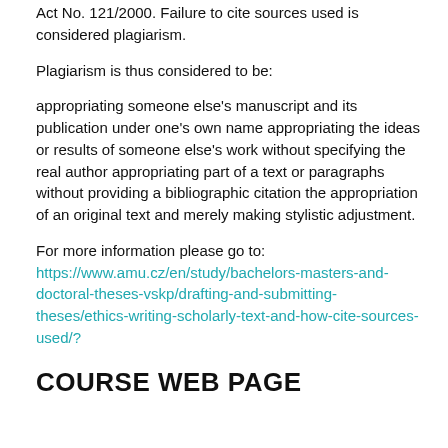Act No. 121/2000. Failure to cite sources used is considered plagiarism.
Plagiarism is thus considered to be:
appropriating someone else's manuscript and its publication under one's own name appropriating the ideas or results of someone else's work without specifying the real author appropriating part of a text or paragraphs without providing a bibliographic citation the appropriation of an original text and merely making stylistic adjustment.
For more information please go to: https://www.amu.cz/en/study/bachelors-masters-and-doctoral-theses-vskp/drafting-and-submitting-theses/ethics-writing-scholarly-text-and-how-cite-sources-used/?
COURSE WEB PAGE